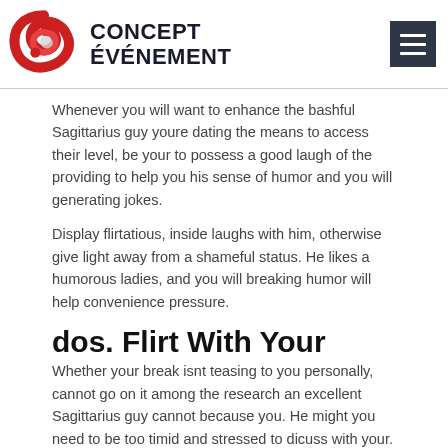CONCEPT ÉVÉNEMENT
Whenever you will want to enhance the bashful Sagittarius guy youre dating the means to access their level, be your to possess a good laugh of the providing to help you his sense of humor and you will generating jokes.
Display flirtatious, inside laughs with him, otherwise give light away from a shameful status. He likes a humorous ladies, and you will breaking humor will help convenience pressure.
dos. Flirt With Your
Whether your break isnt teasing to you personally, cannot go on it among the research an excellent Sagittarius guy cannot because you. He might you need to be too timid and stressed to dicuss with your.
Once you feel a conversation already been with your, start claiming flirty and you can suggestive affairs. Permit its Sagittarius guy understand that you desire